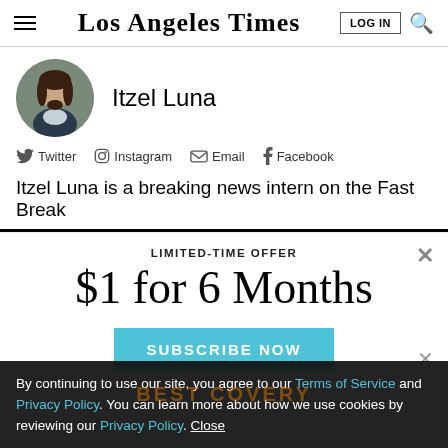Los Angeles Times
Itzel Luna
Twitter  Instagram  Email  Facebook
Itzel Luna is a breaking news intern on the Fast Break
LIMITED-TIME OFFER
$1 for 6 Months
SUBSCRIBE NOW
By continuing to use our site, you agree to our Terms of Service and Privacy Policy. You can learn more about how we use cookies by reviewing our Privacy Policy. Close